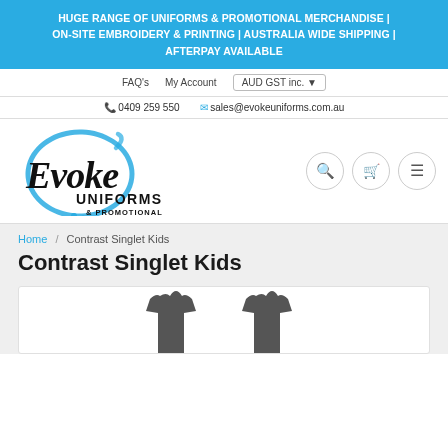HUGE RANGE OF UNIFORMS & PROMOTIONAL MERCHANDISE | ON-SITE EMBROIDERY & PRINTING | AUSTRALIA WIDE SHIPPING | AFTERPAY AVAILABLE
FAQ's   My Account   AUD GST inc. ▼
0409 259 550   sales@evokeuniforms.com.au
[Figure (logo): Evoke Uniforms & Promotional logo with blue circle brush stroke and black bold text]
Home / Contrast Singlet Kids
Contrast Singlet Kids
[Figure (photo): Product card showing two dark singlet silhouettes on white background]